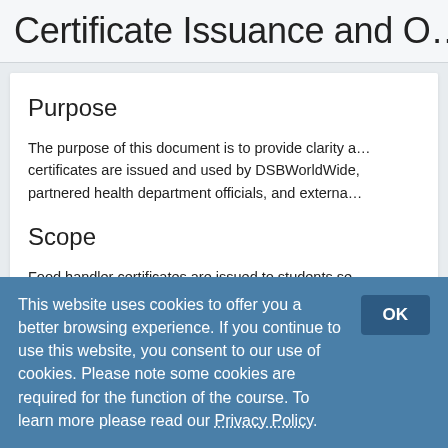Certificate Issuance and O…
Purpose
The purpose of this document is to provide clarity a… certificates are issued and used by DSBWorldWide, partnered health department officials, and externa…
Scope
Food handler certificates are issued to students se… education upon completion of the food handler co…
This website uses cookies to offer you a better browsing experience. If you continue to use this website, you consent to our use of cookies. Please note some cookies are required for the function of the course. To learn more please read our Privacy Policy.